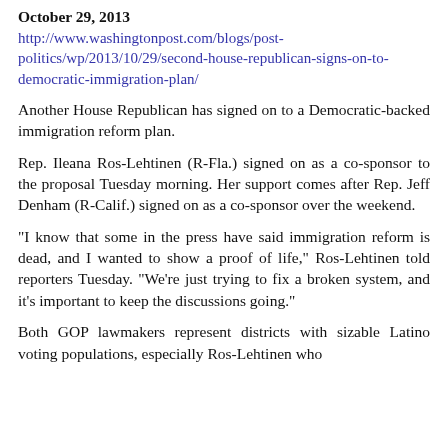October 29, 2013
http://www.washingtonpost.com/blogs/post-politics/wp/2013/10/29/second-house-republican-signs-on-to-democratic-immigration-plan/
Another House Republican has signed on to a Democratic-backed immigration reform plan.
Rep. Ileana Ros-Lehtinen (R-Fla.) signed on as a co-sponsor to the proposal Tuesday morning. Her support comes after Rep. Jeff Denham (R-Calif.) signed on as a co-sponsor over the weekend.
"I know that some in the press have said immigration reform is dead, and I wanted to show a proof of life," Ros-Lehtinen told reporters Tuesday. "We're just trying to fix a broken system, and it's important to keep the discussions going."
Both GOP lawmakers represent districts with sizable Latino voting populations, especially Ros-Lehtinen who